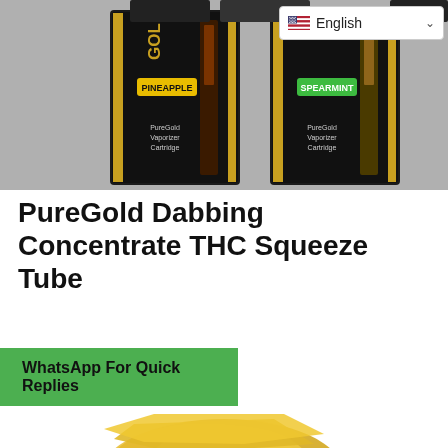[Figure (photo): Photo of GOLDCart PureGold Vaporizer Cartridge product packages, showing two black packages with gold and green labeling, and cartridges visible. An English language selector dropdown is overlaid in the top right corner.]
PureGold Dabbing Concentrate THC Squeeze Tube
WhatsApp For Quick Replies
[Figure (photo): Photo of a golden/amber colored THC concentrate wax/shatter product on a white background.]